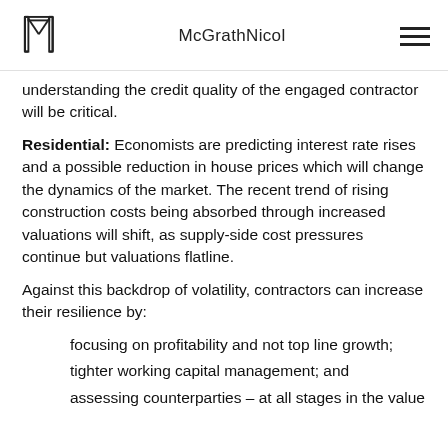McGrathNicol
understanding the credit quality of the engaged contractor will be critical.
Residential: Economists are predicting interest rate rises and a possible reduction in house prices which will change the dynamics of the market. The recent trend of rising construction costs being absorbed through increased valuations will shift, as supply-side cost pressures continue but valuations flatline.
Against this backdrop of volatility, contractors can increase their resilience by:
focusing on profitability and not top line growth;
tighter working capital management; and
assessing counterparties – at all stages in the value